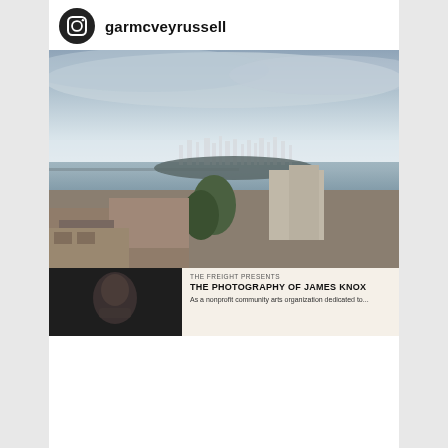garmcveyrussell
[Figure (photo): Aerial cityscape view of the San Francisco Bay Area skyline in the background, with Oakland in the foreground. Bay Bridge visible on the left. Overcast/hazy sky with urban rooftops and trees.]
[Figure (photo): Bottom portion showing two sections: left side is a dark portrait photo of a person, right side shows text on a light background reading 'THE FREIGHT PRESENTS / THE PHOTOGRAPHY OF JAMES KNOX / As a nonprofit community arts organization dedicated to...']